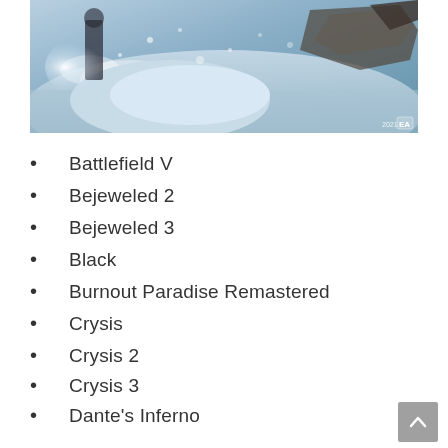[Figure (photo): Action screenshot from Battlefield V showing a soldier in a snowy winter warzone environment with explosions and debris, EA logo in bottom right corner]
Battlefield V
Bejeweled 2
Bejeweled 3
Black
Burnout Paradise Remastered
Crysis
Crysis 2
Crysis 3
Dante's Inferno
Dead Space
Dead Space 2